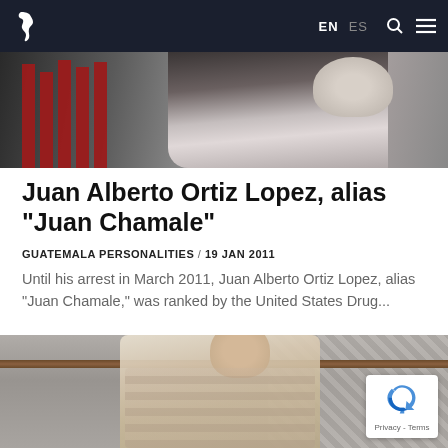EN  ES
[Figure (photo): Black and white photo of a person, partially visible, with red bar elements on the left side]
Juan Alberto Ortiz Lopez, alias "Juan Chamale"
GUATEMALA PERSONALITIES / 19 JAN 2011
Until his arrest in March 2011, Juan Alberto Ortiz Lopez, alias "Juan Chamale," was ranked by the United States Drug...
[Figure (photo): Color photo of a heavyset man in a plaid shirt sitting in what appears to be a courtroom or hearing room]